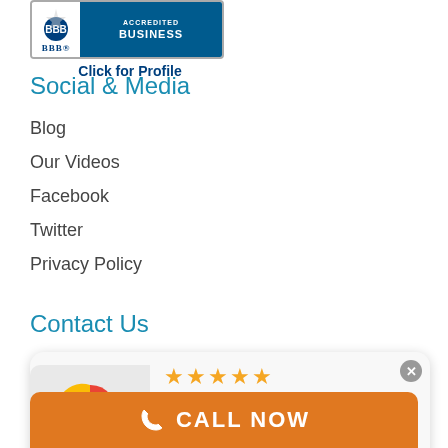[Figure (logo): BBB Accredited Business badge with 'Click for Profile' text below]
Social & Media
Blog
Our Videos
Facebook
Twitter
Privacy Policy
Contact Us
[Figure (screenshot): Google review popup showing 5 stars, text 'The Staff member's at Key Credit Repair are very professiona... More' by Zandrine Williams]
617.412.3051 Fax
617.265.7900 Phone
Client Login
Fre...
[Figure (infographic): Orange CALL NOW button bar at bottom of page]